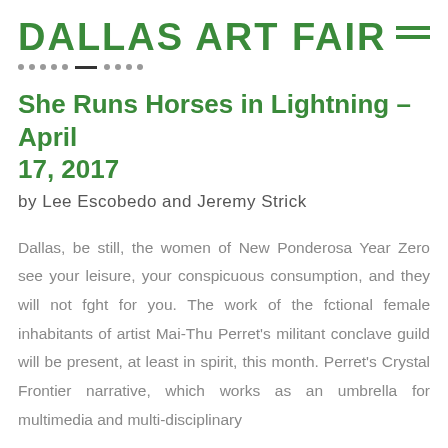DALLAS ART FAIR
She Runs Horses in Lightning – April 17, 2017
by Lee Escobedo and Jeremy Strick
Dallas, be still, the women of New Ponderosa Year Zero see your leisure, your conspicuous consumption, and they will not fght for you. The work of the fctional female inhabitants of artist Mai-Thu Perret's militant conclave guild will be present, at least in spirit, this month. Perret's Crystal Frontier narrative, which works as an umbrella for multimedia and multi-disciplinary